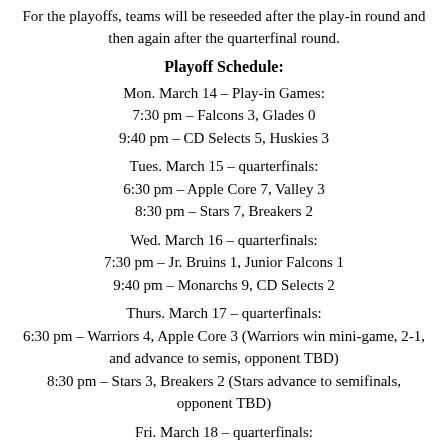For the playoffs, teams will be reseeded after the play-in round and then again after the quarterfinal round.
Playoff Schedule:
Mon. March 14 – Play-in Games:
7:30 pm – Falcons 3, Glades 0
9:40 pm – CD Selects 5, Huskies 3
Tues. March 15 – quarterfinals:
6:30 pm – Apple Core 7, Valley 3
8:30 pm – Stars 7, Breakers 2
Wed. March 16 – quarterfinals:
7:30 pm – Jr. Bruins 1, Junior Falcons 1
9:40 pm – Monarchs 9, CD Selects 2
Thurs. March 17 – quarterfinals:
6:30 pm – Warriors 4, Apple Core 3 (Warriors win mini-game, 2-1, and advance to semis, opponent TBD)
8:30 pm – Stars 3, Breakers 2 (Stars advance to semifinals, opponent TBD)
Fri. March 18 – quarterfinals:
4:00 pm – Jr. Bruins 4, Junior Falcons 3
6:20 pm – Monarchs 6, CD Selects 2